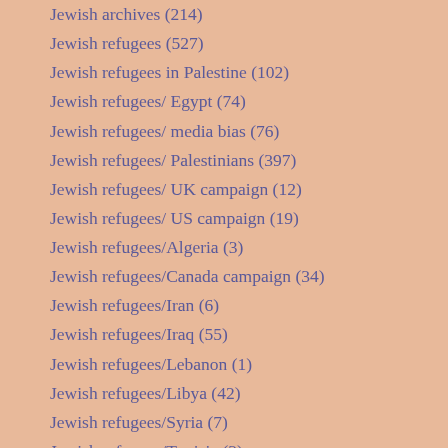Jewish archives (214)
Jewish refugees (527)
Jewish refugees in Palestine (102)
Jewish refugees/ Egypt (74)
Jewish refugees/ media bias (76)
Jewish refugees/ Palestinians (397)
Jewish refugees/ UK campaign (12)
Jewish refugees/ US campaign (19)
Jewish refugees/Algeria (3)
Jewish refugees/Canada campaign (34)
Jewish refugees/Iran (6)
Jewish refugees/Iraq (55)
Jewish refugees/Lebanon (1)
Jewish refugees/Libya (42)
Jewish refugees/Syria (7)
Jewish refugees/Tunisia (3)
Jews of Afghanistan (36)
Jews of Africa (1)